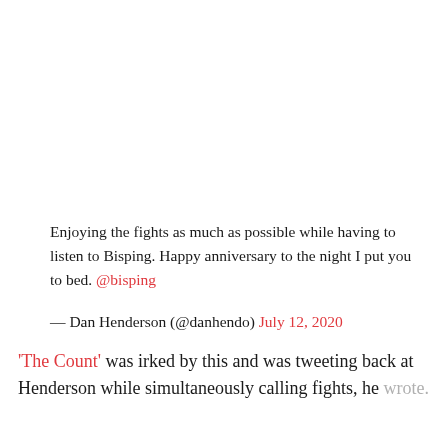Enjoying the fights as much as possible while having to listen to Bisping. Happy anniversary to the night I put you to bed. @bisping
— Dan Henderson (@danhendo) July 12, 2020
'The Count' was irked by this and was tweeting back at Henderson while simultaneously calling fights, he wrote.